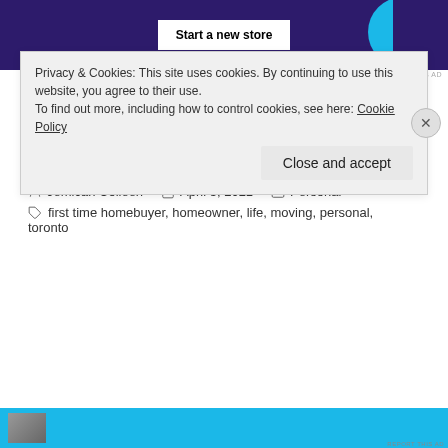[Figure (screenshot): Ad banner with dark purple background, 'Start a new store' white button, and cyan/blue circles on the right side]
REPORT THIS AD
Share this:
Twitter
Facebook
Loading...
Jemicah Colleen   April 5, 2021   Personal
first time homebuyer, homeowner, life, moving, personal,
toronto
Privacy & Cookies: This site uses cookies. By continuing to use this website, you agree to their use.
To find out more, including how to control cookies, see here: Cookie Policy
Close and accept
[Figure (screenshot): Bottom advertisement banner with cyan background and thumbnail image]